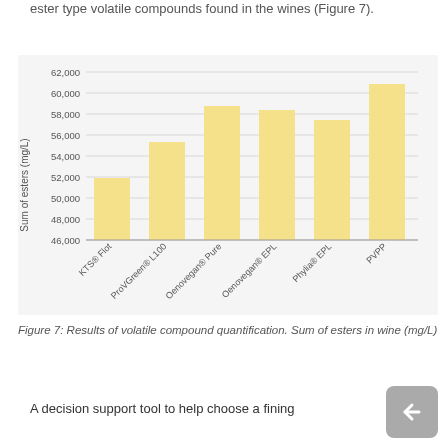ester type volatile compounds found in the wines (Figure 7).
[Figure (bar-chart): Sum of esters in wine (mg/L)]
Figure 7: Results of volatile compound quantification. Sum of esters in wine (mg/L)
A decision support tool to help choose a fining